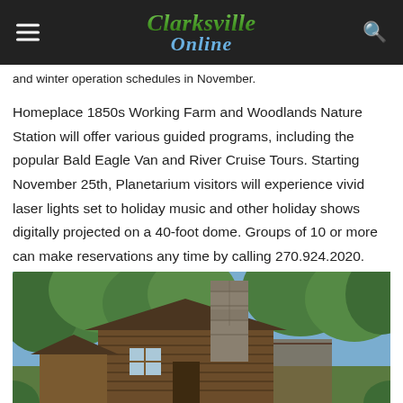Clarksville Online
and winter operation schedules in November.
Homeplace 1850s Working Farm and Woodlands Nature Station will offer various guided programs, including the popular Bald Eagle Van and River Cruise Tours. Starting November 25th, Planetarium visitors will experience vivid laser lights set to holiday music and other holiday shows digitally projected on a 40-foot dome. Groups of 10 or more can make reservations any time by calling 270.924.2020.
[Figure (photo): A log cabin with a stone chimney surrounded by green trees, shot outdoors on a sunny day.]